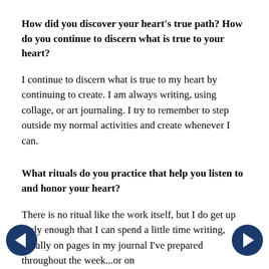How did you discover your heart's true path? How do you continue to discern what is true to your heart?
I continue to discern what is true to my heart by continuing to create. I am always writing, using collage, or art journaling. I try to remember to step outside my normal activities and create whenever I can.
What rituals do you practice that help you listen to and honor your heart?
There is no ritual like the work itself, but I do get up early enough that I can spend a little time writing, usually on pages in my journal I've prepared throughout the week...or on